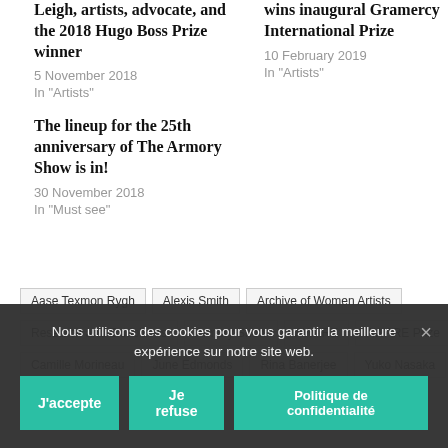Leigh, artists, advocate, and the 2018 Hugo Boss Prize winner
5 November 2018
In "Artists"
The lineup for the 25th anniversary of The Armory Show is in!
30 November 2018
In "Must see"
wins inaugural Gramercy International Prize
10 February 2019
In "Artists"
Aase Texmon Rygh
Alexis Smith
Archive of Women Artists
Research and Exhibitions
Armory Show
AWARE
AWARE Prize
Camille Morineau
June Edmonds
Rina Banerjee
Yuko Nasaka
Nous utilisons des cookies pour vous garantir la meilleure expérience sur notre site web.
J'accepte
Je refuse
Politique de confidentialité